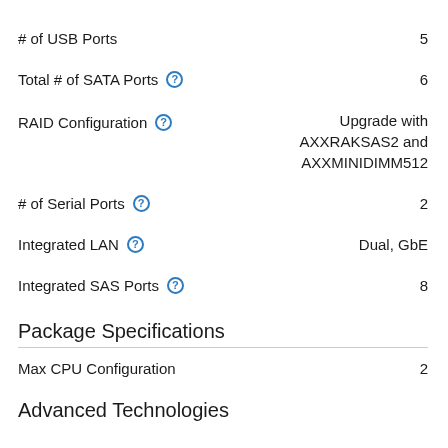| Specification | Value |
| --- | --- |
| # of USB Ports | 5 |
| Total # of SATA Ports | 6 |
| RAID Configuration | Upgrade with AXXRAKSAS2 and AXXMINIDIMM512 |
| # of Serial Ports | 2 |
| Integrated LAN | Dual, GbE |
| Integrated SAS Ports | 8 |
Package Specifications
| Specification | Value |
| --- | --- |
| Max CPU Configuration | 2 |
Advanced Technologies